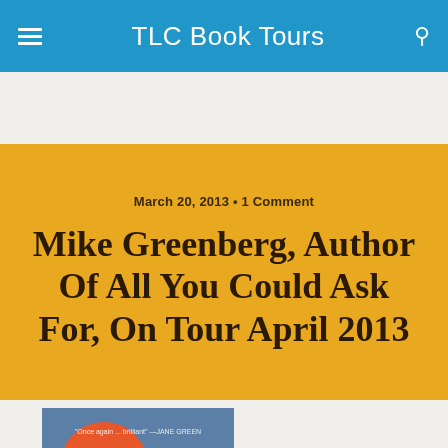TLC Book Tours
March 20, 2013 • 1 Comment
Mike Greenberg, Author Of All You Could Ask For, On Tour April 2013
Share  Tweet  Pin  Mail  SMS
[Figure (illustration): Book cover of 'all you could' by Mike Greenberg — blue background with large orange circle in upper left, white lowercase text reading 'all you could' visible]